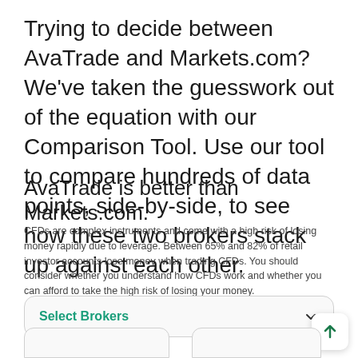Trying to decide between AvaTrade and Markets.com? We've taken the guesswork out of the equation with our Comparison Tool. Use our tool to compare hundreds of data points, side-by-side, to see how these two brokers stack up against each other.
AvaTrade is better than Markets.com.
CFDs are complex instruments and come with a high risk of losing money rapidly due to leverage. Between 65% and 82% of retail investor accounts lose money when trading CFDs. You should consider whether you understand how CFDs work and whether you can afford to take the high risk of losing your money.